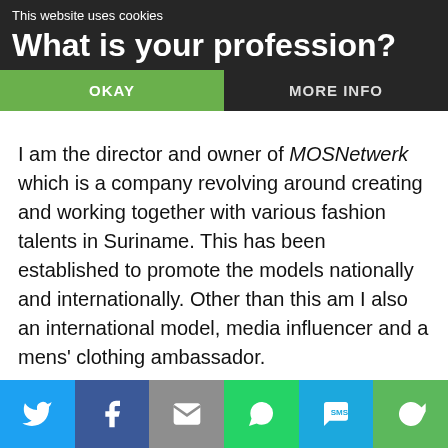This website uses cookies
What is your profession?
OKAY
MORE INFO
I am the director and owner of MOSNetwerk which is a company revolving around creating and working together with various fashion talents in Suriname. This has been established to promote the models nationally and internationally. Other than this am I also an international model, media influencer and a mens' clothing ambassador.
[Figure (infographic): Social sharing bar with icons: Twitter (blue), Facebook (dark blue), Email (grey), WhatsApp (green), SMS (light blue), Share/other (green)]